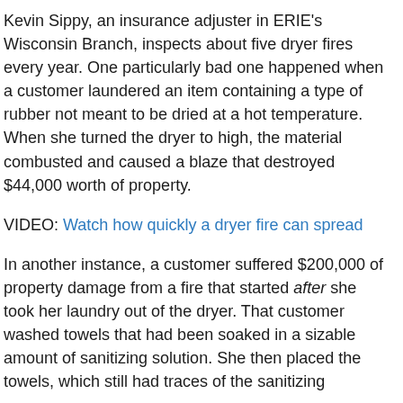Kevin Sippy, an insurance adjuster in ERIE's Wisconsin Branch, inspects about five dryer fires every year. One particularly bad one happened when a customer laundered an item containing a type of rubber not meant to be dried at a hot temperature. When she turned the dryer to high, the material combusted and caused a blaze that destroyed $44,000 worth of property.
VIDEO: Watch how quickly a dryer fire can spread
In another instance, a customer suffered $200,000 of property damage from a fire that started after she took her laundry out of the dryer. That customer washed towels that had been soaked in a sizable amount of sanitizing solution. She then placed the towels, which still had traces of the sanitizing